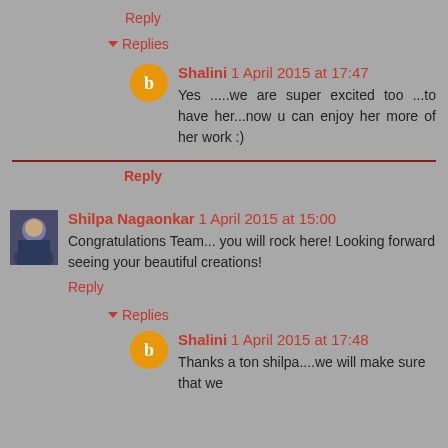Reply
Replies
Shalini 1 April 2015 at 17:47
Yes .....we are super excited too ...to have her...now u can enjoy her more of her work :)
Reply
Shilpa Nagaonkar 1 April 2015 at 15:00
Congratulations Team... you will rock here! Looking forward seeing your beautiful creations!
Reply
Replies
Shalini 1 April 2015 at 17:48
Thanks a ton shilpa....we will make sure that we